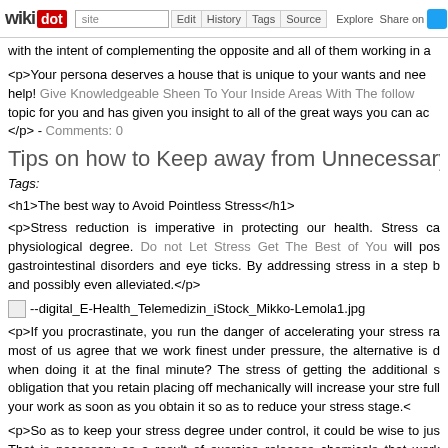wikidot — site Edit History Tags Source Explore Share on [Twitter]
with the intent of complementing the opposite and all of them working in a
<p>Your persona deserves a house that is unique to your wants and nee help! Give Knowledgeable Sheen To Your Inside Areas With The follow topic for you and has given you insight to all of the great ways you can ac </p> - Comments: 0
Tips on how to Keep away from Unnecessary Str
Tags:
<h1>The best way to Avoid Pointless Stress</h1>
<p>Stress reduction is imperative in protecting our health. Stress ca physiological degree. Do not Let Stress Get The Best of You will pos gastrointestinal disorders and eye ticks. By addressing stress in a step b and possibly even alleviated.</p>
[Figure (photo): Broken image placeholder for --digital_E-Health_Telemedizin_iStock_Mikko-Lemola1.jpg]
<p>If you procrastinate, you run the danger of accelerating your stress ra most of us agree that we work finest under pressure, the alternative is d when doing it at the final minute? The stress of getting the additional s obligation that you retain placing off mechanically will increase your stre full your work as soon as you obtain it so as to reduce your stress stage.<
<p>So as to keep your stress degree under control, it could be wise to jus That is necessary as a result of exercise releases chemicals that work About Stress Which are Crucial To Know as a half hour a day, a few insta